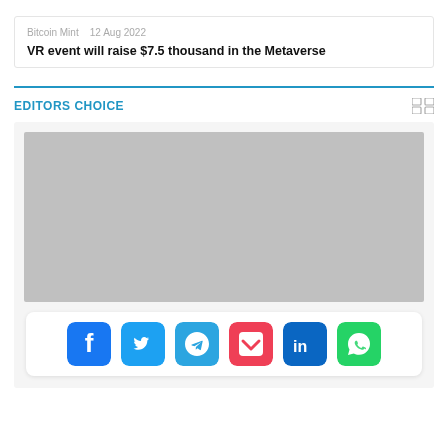Bitcoin Mint   12 Aug 2022
VR event will raise $7.5 thousand in the Metaverse
EDITORS CHOICE
[Figure (screenshot): Gray placeholder image with social media sharing icons bar (Facebook, Twitter, Telegram, Pocket, LinkedIn, WhatsApp)]